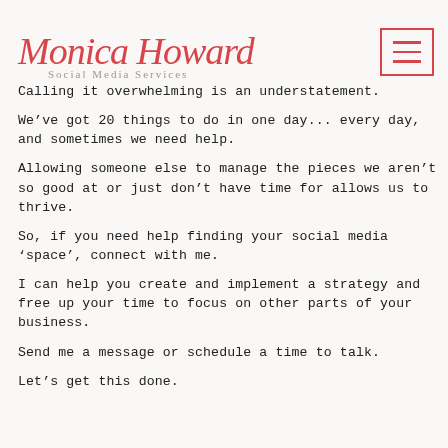Monica Howard Social Media Services
Calling it overwhelming is an understatement.
We've got 20 things to do in one day... every day, and sometimes we need help.
Allowing someone else to manage the pieces we aren't so good at or just don't have time for allows us to thrive.
So, if you need help finding your social media 'space', connect with me.
I can help you create and implement a strategy and free up your time to focus on other parts of your business.
Send me a message or schedule a time to talk.
Let's get this done.